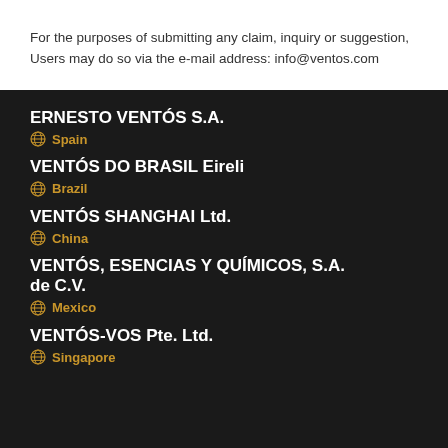For the purposes of submitting any claim, inquiry or suggestion, Users may do so via the e-mail address: info@ventos.com
ERNESTO VENTÓS S.A.
🌐 Spain
VENTÓS DO BRASIL Eireli
🌐 Brazil
VENTÓS SHANGHAI Ltd.
🌐 China
VENTÓS, ESENCIAS Y QUÍMICOS, S.A. de C.V.
🌐 Mexico
VENTÓS-VOS Pte. Ltd.
🌐 Singapore